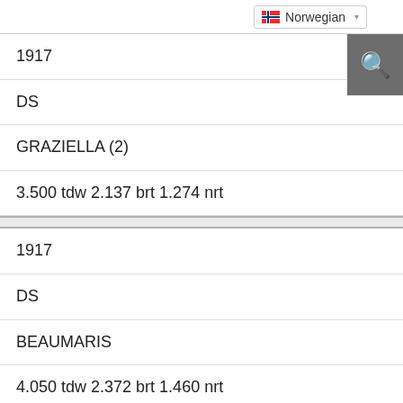| 1917 |
| DS |
| GRAZIELLA (2) |
| 3.500 tdw 2.137 brt 1.274 nrt |
| 1917 |
| DS |
| BEAUMARIS |
| 4.050 tdw 2.372 brt 1.460 nrt |
| 1917 |